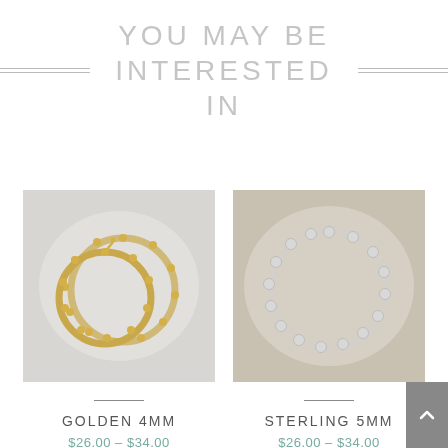YOU MAY BE INTERESTED IN
[Figure (photo): Two gold beaded hoop earrings overlapping on a light grey background]
GOLDEN 4MM
$26.00 – $34.00
[Figure (photo): Silver beaded bracelet arranged in a circle on a beige/tan background]
STERLING 5MM
$26.00 – $34.00